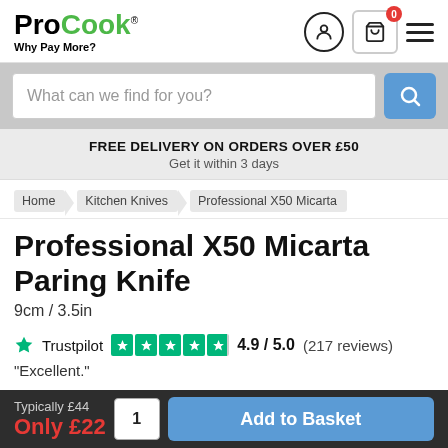ProCook - Why Pay More?
What can we find for you?
FREE DELIVERY ON ORDERS OVER £50
Get it within 3 days
Home > Kitchen Knives > Professional X50 Micarta
Professional X50 Micarta Paring Knife
9cm / 3.5in
Trustpilot 4.9 / 5.0 (217 reviews)
"Excellent."
Typically £44
Only £22
Add to Basket 1